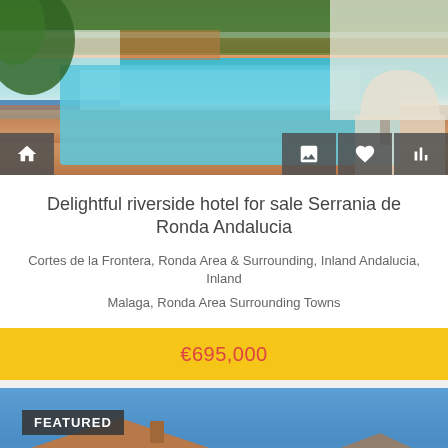[Figure (photo): Outdoor swimming pool with terracotta tile surround, white walls with blue trim, arched patio area with chairs, and lush greenery in background at a Spanish property]
Delightful riverside hotel for sale Serrania de Ronda Andalucia
Cortes de la Frontera, Ronda Area & Surrounding, Inland Andalucia, Inland
Malaga, Ronda Area Surrounding Towns
€695,000
[Figure (photo): Exterior view of a whitewashed Spanish rural property with terracotta roof tiles, chimney, and surrounding trees under a bright blue sky. A featured badge is overlaid in the top-left corner.]